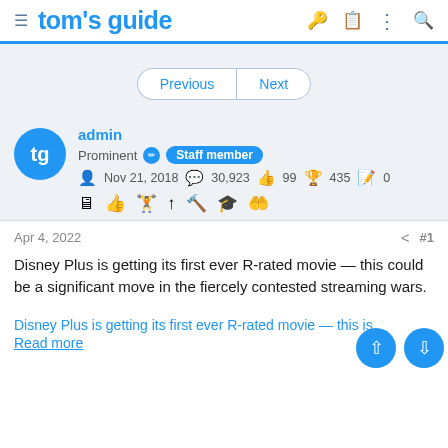tom's guide
Previous  Next
admin
Prominent  Staff member
Nov 21, 2018  30,923  99  435  0
Apr 4, 2022  #1
Disney Plus is getting its first ever R-rated movie — this could be a significant move in the fiercely contested streaming wars.
Disney Plus is getting its first ever R-rated movie — this is … Read more